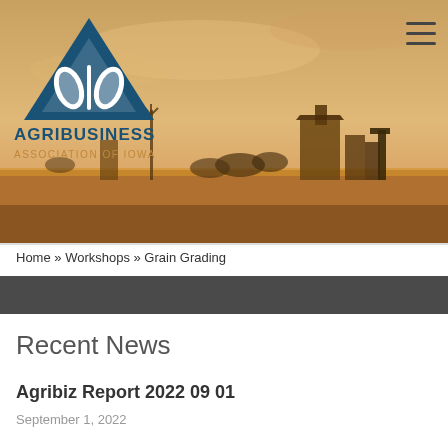[Figure (photo): Hero image of Iowa farmland at sunset/golden hour with grain elevator and windmill silhouettes against an orange sky. Agribusiness Association of Iowa logo overlaid on the left with a hamburger menu icon on the top right.]
Home » Workshops » Grain Grading
Recent News
Agribiz Report 2022 09 01
September 1, 2022